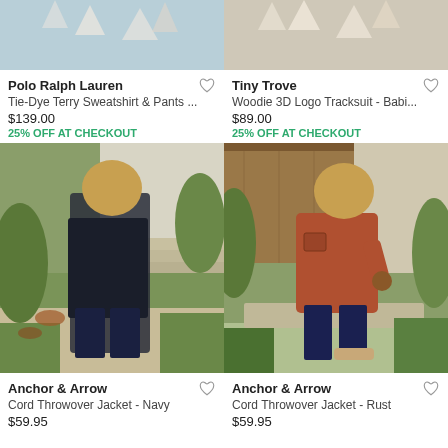[Figure (photo): Partially visible top of product image with blue background and paper cutout shapes - Polo Ralph Lauren Tie-Dye Terry Sweatshirt]
Polo Ralph Lauren
Tie-Dye Terry Sweatshirt & Pants ...
$139.00
25% OFF AT CHECKOUT
[Figure (photo): Partially visible top of product image with light background and paper cutout shapes - Tiny Trove Woodie Tracksuit]
Tiny Trove
Woodie 3D Logo Tracksuit - Babi...
$89.00
25% OFF AT CHECKOUT
[Figure (photo): Child wearing a navy black Cord Throwover Jacket standing in a garden setting - Anchor & Arrow]
Anchor & Arrow
Cord Throwover Jacket - Navy
$59.95
[Figure (photo): Child wearing a rust/orange Cord Throwover Jacket walking in a garden setting - Anchor & Arrow]
Anchor & Arrow
Cord Throwover Jacket - Rust
$59.95